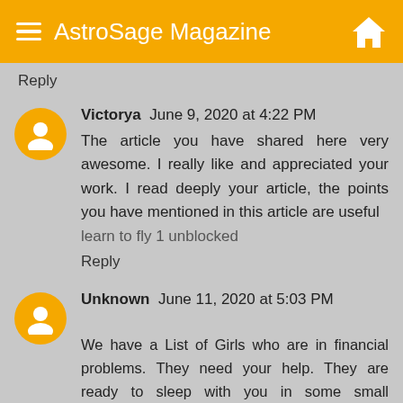AstroSage Magazine
Reply
Victorya  June 9, 2020 at 4:22 PM
The article you have shared here very awesome. I really like and appreciated your work. I read deeply your article, the points you have mentioned in this article are useful
learn to fly 1 unblocked
Reply
Unknown  June 11, 2020 at 5:03 PM
We have a List of Girls who are in financial problems. They need your help. They are ready to sleep with you in some small amounts. Call us for their contact no and help them. To book an escort just drop a call to the given number and